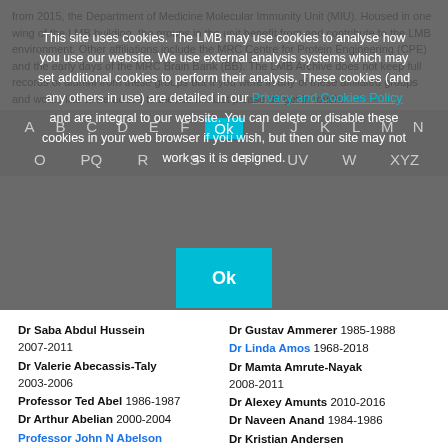from 2015, the Department of Medicine Molecular Immunity Unit (MIU). Housed in one wing of the LMB building, the groups in the unit benefit from and contribute to the LMB environment. Other affiliations include the MRC Centre for Protein Engineering (CPE) and the early days of the MRC Brain Bank (BB). The LMB Archive does not keep full records of alumni from these groups but if you were in any of these affiliated groups and would like to be added to the Alumni List please do get in touch.
This site uses cookies. The LMB may use cookies to analyse how you use our website. We use external analysis systems which may set additional cookies to perform their analysis. These cookies (and any others in use) are detailed in our Privacy and Cookies Policy and are integral to our website. You can delete or disable these cookies in your web browser if you wish, but then our site may not work as it is designed.
Ok
A B C D E F Ok I J K L M N
O PQ R S T UV W XYZ
Dr Saba Abdul Hussein 2007-2011
Dr Valerie Abecassis-Taly 2003-2006
Professor Ted Abel 1986-1987
Dr Arthur Abelian 2000-2004
Professor John N Abelson 1965-1968, 1975
Dr Frank Abendroth 2014-
Dr Gustav Ammerer 1985-1988
Dr Linda Amos 1968-2018
Dr Mamta Amrute-Nayak 2008-2011
Dr Alexey Amunts 2010-2016
Dr Naveen Anand 1984-1986
Dr Kristian Andersen 2004-2009
Professor John ...